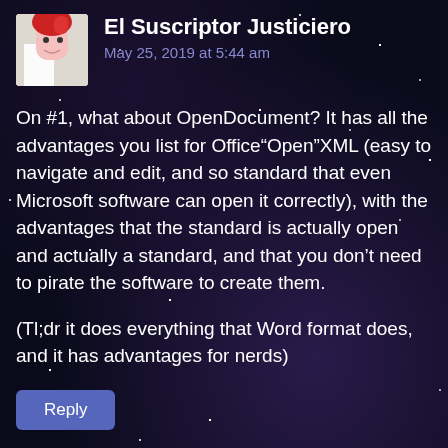El Suscriptor Justiciero
May 25, 2019 at 5:44 am
On #1, what about OpenDocument? It has all the advantages you list for Office“Open”XML (easy to navigate and edit, and so standard that even Microsoft software can open it correctly), with the advantages that the standard is actually open and actually a standard, and that you don’t need to pirate the software to create them.
(Tl;dr it does everything that Word format does, and it has advantages for nerds)
Reply